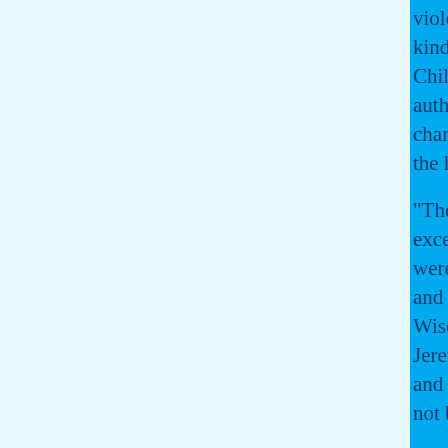violent. Too many children suffer from neglect and every kind of abuse. Children are starving while adults feast. Children die every day because those who are in authority act out in selfish and self-centered ways. Little changed over the millennia, even in Jesus' time, children died at the hands of adults who did not care if a child lived or died.
"Then Herod, when he saw that he was mocked of the wise men, was exceeding wroth, and sent forth, and slew all the children that were in Bethlehem, and in all the borders thereof, from two years old and under, according to the time which he had diligently inquired of the Wise-men. Then was fulfilled that which was spoken by Jeremiah the prophet, saying, A voice was heard in Ramah, lamentation and great mourning, Rachel weeping for her children, and would not be comforted, because they are not." Mt 2:16-18
Our children are not thrilled about this move. They will miss their friends and the life we have built here in America. But they are excited about the possibilities of tomorrow. It is our job to consider their needs every step along the way. This is not true for some children. To many adults, children are at best an inconvenience, even an obstacle, for their ambitions. Herod was so threatened by the promise of a new king that he was willing to kill many children in Bethlehem. The stakes today are certainly not that grave, but even today we